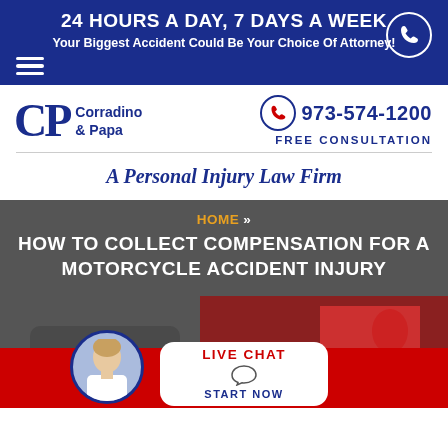24 HOURS A DAY, 7 DAYS A WEEK
Your Biggest Accident Could Be Your Choice Of Attorney!
[Figure (logo): Corradino & Papa law firm logo with CP monogram in dark blue]
973-574-1200
FREE CONSULTATION
A Personal Injury Law Firm
HOME » HOW TO COLLECT COMPENSATION FOR A MOTORCYCLE ACCIDENT INJURY
[Figure (photo): Motorcycle accident scene with vehicle and person in red jacket, live chat widget overlay]
LIVE CHAT
START NOW